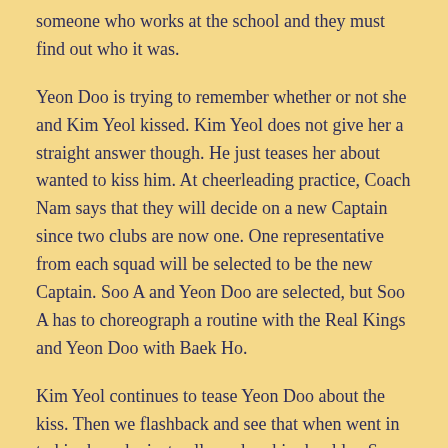someone who works at the school and they must find out who it was.
Yeon Doo is trying to remember whether or not she and Kim Yeol kissed. Kim Yeol does not give her a straight answer though. He just teases her about wanted to kiss him. At cheerleading practice, Coach Nam says that they will decide on a new Captain since two clubs are now one. One representative from each squad will be selected to be the new Captain. Soo A and Yeon Doo are selected, but Soo A has to choreograph a routine with the Real Kings and Yeon Doo with Baek Ho.
Kim Yeol continues to tease Yeon Doo about the kiss. Then we flashback and see that when went in to kiss her, she just collapsed on his shoulder. So they did not actually kiss. Coach Nam and Teacher Yang really want to get the footage back from the reporter that recorded them. They need to protect their jobs and the students at Sevit High. So they take the